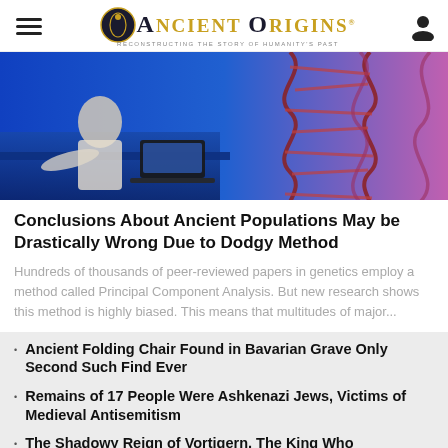Ancient Origins — Reconstructing the story of humanity's past
[Figure (photo): A person working at a laptop with a digital DNA double helix structure in the background, blue and purple tones]
Conclusions About Ancient Populations May be Drastically Wrong Due to Dodgy Method
Hundreds of thousands of peer-reviewed papers in genetics employ a method called Principal Component Analysis. But new research shows this method is highly biased. This means that multitudes of major...
Ancient Folding Chair Found in Bavarian Grave Only Second Such Find Ever
Remains of 17 People Were Ashkenazi Jews, Victims of Medieval Antisemitism
The Shadowy Reign of Vortigern, The King Who